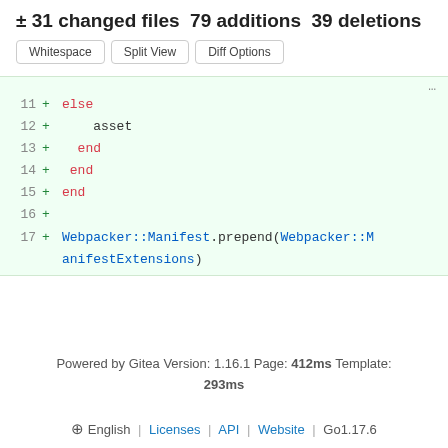± 31 changed files 79 additions 39 deletions
[Figure (screenshot): Three buttons: Whitespace, Split View, Diff Options]
Code diff showing lines 11-17 with additions: else, asset, end, end, end, blank, Webpacker::Manifest.prepend(Webpacker::ManifestExtensions)
Powered by Gitea Version: 1.16.1 Page: 412ms Template: 293ms
⊕ English | Licenses | API | Website | Go1.17.6